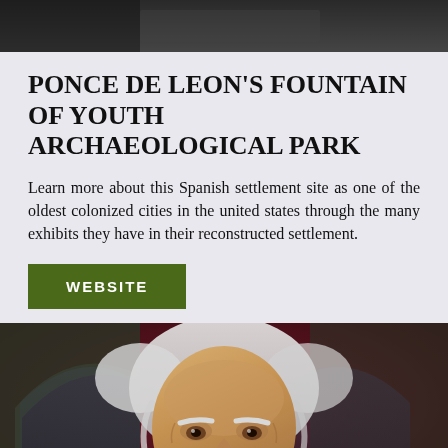[Figure (photo): Partial dark photograph visible at the top of the page, cropped to show only approximately 52px height]
PONCE DE LEON'S FOUNTAIN OF YOUTH ARCHAEOLOGICAL PARK
Learn more about this Spanish settlement site as one of the oldest colonized cities in the united states through the many exhibits they have in their reconstructed settlement.
WEBSITE
[Figure (photo): Close-up portrait of an elderly man with white hair and mustache, resembling a wax figure or painting, with text 'PO NIA' visible at the bottom, likely referencing Ponce de Leon]